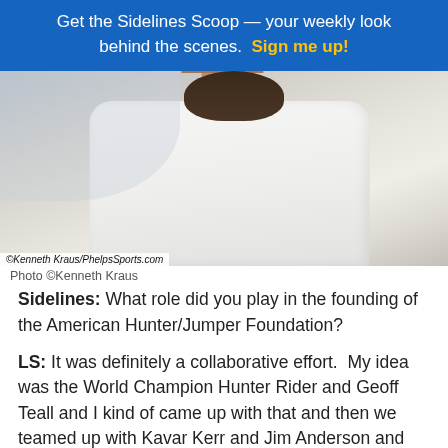Get the Sidelines Scoop — your weekly look behind the scenes. Sign me up!
[Figure (photo): Close-up photo of a person wearing a white collared shirt, cropped at chin/neck level. Photo credit: ©Kenneth Kraus/PhelpsSports.com]
Photo ©Kenneth Kraus
Sidelines:  What role did you play in the founding of the American Hunter/Jumper Foundation?
LS:  It was definitely a collaborative effort.  My idea was the World Champion Hunter Rider and Geoff Teall and I kind of came up with that and then we teamed up with Kavar Kerr and Jim Anderson and they brought the foundation idea into it.  By combining those